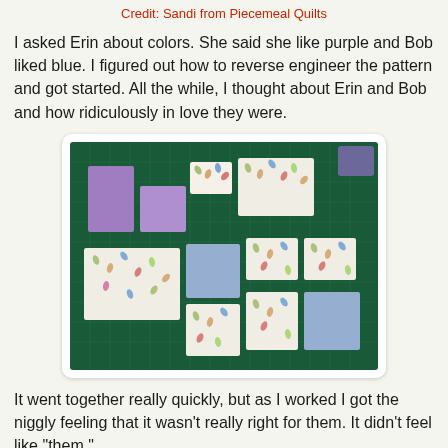Credit: Sandi from Piecemeal Quilts
I asked Erin about colors. She said she like purple and Bob liked blue. I figured out how to reverse engineer the pattern and got started. All the while, I thought about Erin and Bob and how ridiculously in love they were.
[Figure (photo): Fabric pieces laid out on a green cutting mat: purple solid rectangles, light blue solid squares, and white/cream fabric with colorful leaf print in various sizes.]
It went together really quickly, but as I worked I got the niggly feeling that it wasn't really right for them. It didn't feel like "them."
[Figure (photo): Partially visible bottom photo card with dark bar at top.]